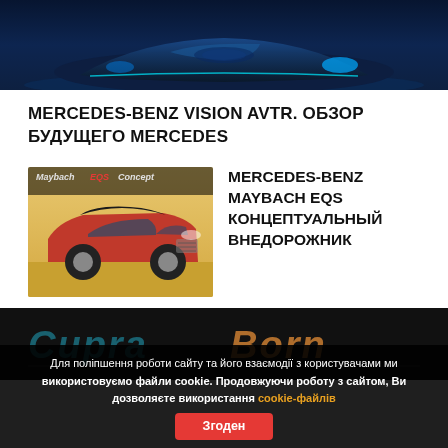[Figure (photo): Top banner image showing a futuristic dark blue Mercedes-Benz concept car]
MERCEDES-BENZ VISION AVTR. ОБЗОР БУДУЩЕГО MERCEDES
[Figure (photo): Red Mercedes-Benz Maybach EQS Concept SUV with dark roof, shown at an angle, with Maybach EQS Concept text overlay]
MERCEDES-BENZ MAYBACH EQS КОНЦЕПТУАЛЬНЫЙ ВНЕДОРОЖНИК
[Figure (photo): Cupra Born logo banner on black background with stylized metallic teal and orange lettering]
Для поліпшення роботи сайту та його взаємодії з користувачами ми використовуємо файли cookie. Продовжуючи роботу з сайтом, Ви дозволяєте використання cookie-файлів